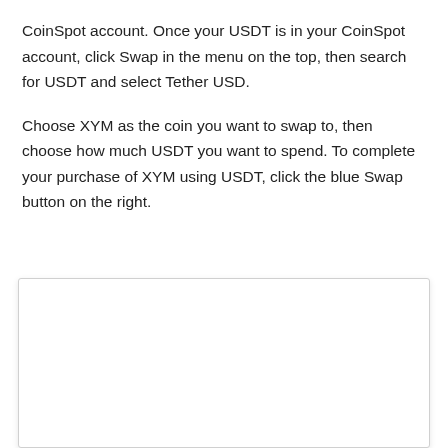CoinSpot account. Once your USDT is in your CoinSpot account, click Swap in the menu on the top, then search for USDT and select Tether USD.
Choose XYM as the coin you want to swap to, then choose how much USDT you want to spend. To complete your purchase of XYM using USDT, click the blue Swap button on the right.
[Figure (screenshot): A white screenshot panel, mostly blank, representing a CoinSpot swap interface screenshot.]